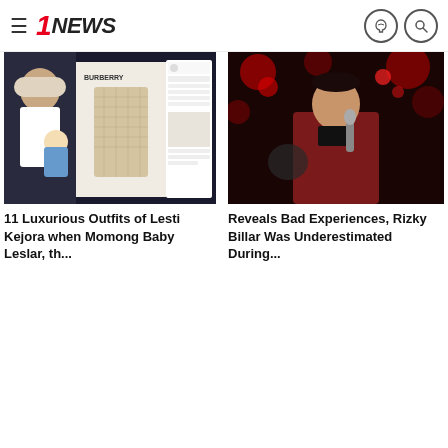1NEWS
[Figure (photo): Collage image: woman in hijab holding baby on left, Burberry jacket product photo in center, Instagram post screenshot on right]
11 Luxurious Outfits of Lesti Kejora when Momong Baby Leslar, th...
[Figure (photo): Man in dark red/maroon suit holding microphone on stage with red bokeh lights in background]
Reveals Bad Experiences, Rizky Billar Was Underestimated During...